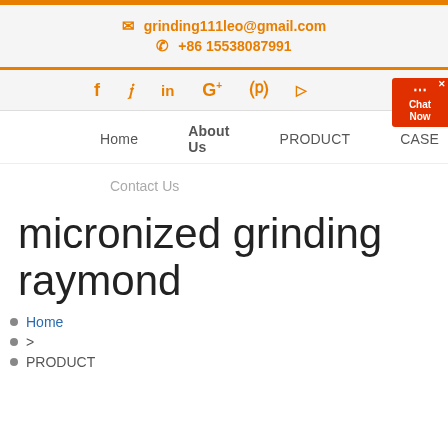grinding111leo@gmail.com | +86 15538087991
f  y  in  G+  ®  ▶  [Chat Now widget]
Home   About Us   PRODUCT   CASE
Contact Us
micronized grinding raymond
Home
>
PRODUCT